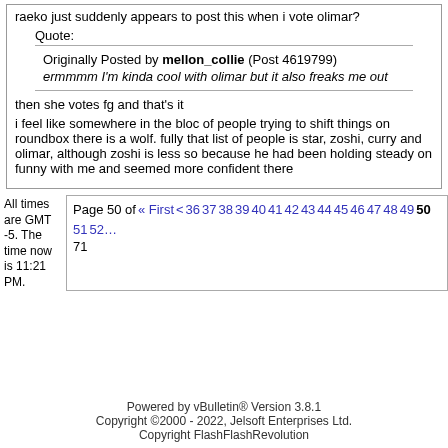raeko just suddenly appears to post this when i vote olimar?
Quote:
Originally Posted by mellon_collie (Post 4619799)
ermmmm I'm kinda cool with olimar but it also freaks me out
then she votes fg and that's it
i feel like somewhere in the bloc of people trying to shift things on roundbox there is a wolf. fully that list of people is star, zoshi, curry and olimar, although zoshi is less so because he had been holding steady on funny with me and seemed more confident there
All times are GMT -5. The time now is 11:21 PM.
Page 50 of 71 « First < 36 37 38 39 40 41 42 43 44 45 46 47 48 49 50 51 52
Powered by vBulletin® Version 3.8.1
Copyright ©2000 - 2022, Jelsoft Enterprises Ltd.
Copyright FlashFlashRevolution